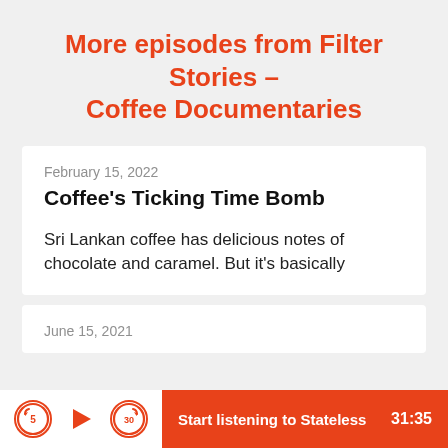More episodes from Filter Stories - Coffee Documentaries
February 15, 2022
Coffee's Ticking Time Bomb
Sri Lankan coffee has delicious notes of chocolate and caramel. But it's basically
June 15, 2021
Start listening to Stateless   31:35